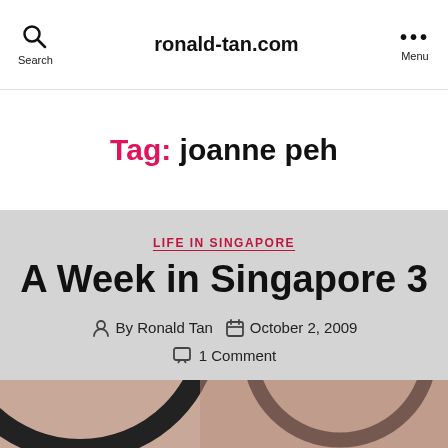Search  ronald-tan.com  Menu
Tag: joanne peh
LIFE IN SINGAPORE
A Week in Singapore 3
By Ronald Tan  October 2, 2009
1 Comment
[Figure (photo): Bottom image strip showing circular shapes, likely a bowl or curved object, partially visible at the bottom of the page]